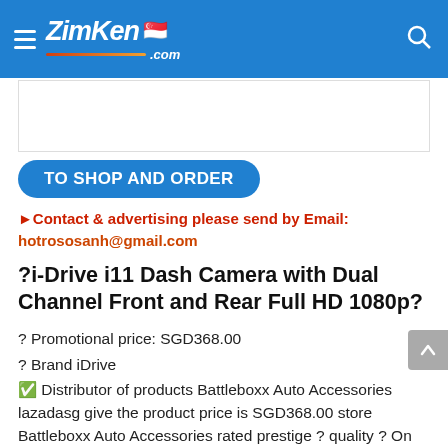ZimKen.com
[Figure (other): Advertisement banner placeholder box]
TO SHOP AND ORDER
►Contact & advertising please send by Email: hotrososanh@gmail.com
?i-Drive i11 Dash Camera with Dual Channel Front and Rear Full HD 1080p?
? Promotional price: SGD368.00
? Brand iDrive
✅ Distributor of products Battleboxx Auto Accessories lazadasg give the product price is SGD368.00 store Battleboxx Auto Accessories rated prestige ? quality ? On